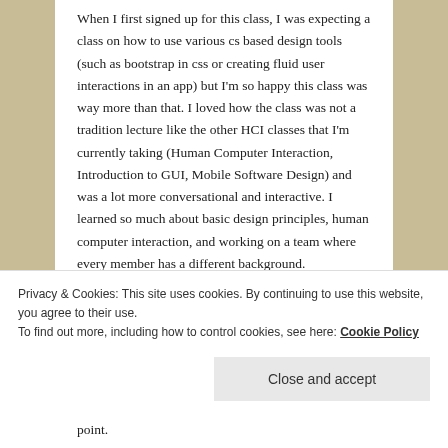When I first signed up for this class, I was expecting a class on how to use various cs based design tools (such as bootstrap in css or creating fluid user interactions in an app) but I'm so happy this class was way more than that. I loved how the class was not a tradition lecture like the other HCI classes that I'm currently taking (Human Computer Interaction, Introduction to GUI, Mobile Software Design) and was a lot more conversational and interactive. I learned so much about basic design principles, human computer interaction, and working on a team where every member has a different background.
One of the biggest takeaways I got from the course was collaborating with students outside of cs. Working with
Privacy & Cookies: This site uses cookies. By continuing to use this website, you agree to their use. To find out more, including how to control cookies, see here: Cookie Policy
point.